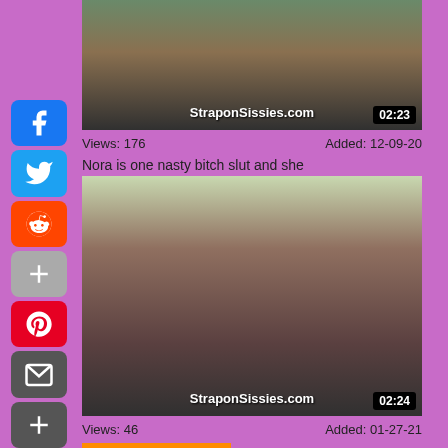[Figure (screenshot): Social media share buttons sidebar: Facebook, Twitter, Reddit, Share, Pinterest, Mail, More]
[Figure (screenshot): Video thumbnail with StraponSissies.com watermark, duration 02:23]
Views: 176    Added: 12-09-20
Nora is one nasty bitch slut and she
[Figure (screenshot): Video thumbnail with StraponSissies.com watermark, duration 02:24]
Views: 46    Added: 01-27-21
Sissy Boy Collection
[Figure (screenshot): Sissy Boy Collection thumbnail showing animated female characters]